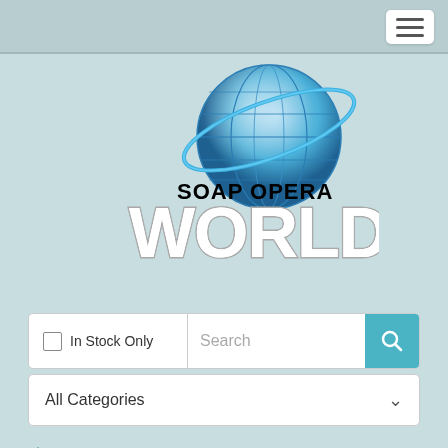[Figure (logo): Soap Opera World logo with globe graphic and large text WORLD]
In Stock Only  Search
All Categories
🏠 / Soap Opera Magazine / Magazine 1994 / 6-7-94 Soap Opera Magazine DRAKE HOGESTYN-DEIDRE HALL
Log In | Register